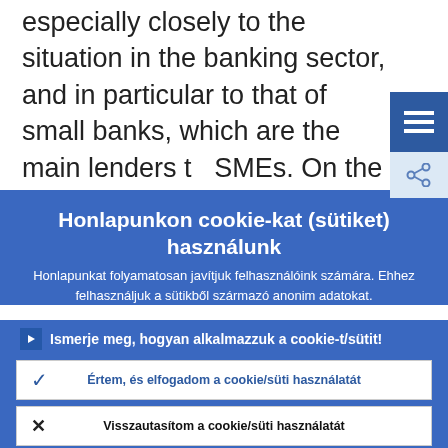especially closely to the situation in the banking sector, and in particular to that of small banks, which are the main lenders to SMEs. On the other hand, banks generally
Honlapunkon cookie-kat (sütiket) használunk
Honlapunkat folyamatosan javítjuk felhasználóink számára. Ehhez felhasználjuk a sütikből származó anonim adatokat.
Ismerje meg, hogyan alkalmazzuk a cookie-t/sütit!
Értem, és elfogadom a cookie/süti használatát
Visszautasítom a cookie/süti használatát